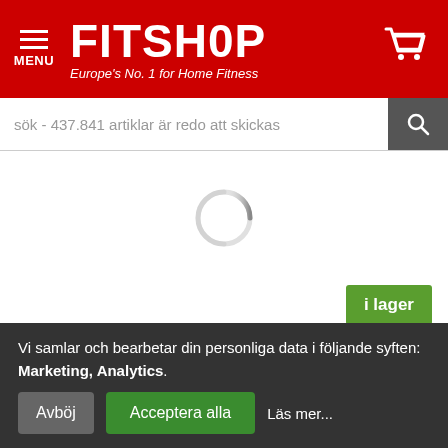FITSHOP — Europe's No. 1 for Home Fitness
sök - 437.841 artiklar är redo att skickas
[Figure (other): Loading spinner / circular progress indicator in the center of the page]
i lager
DU SPARAR 29%
Vi samlar och bearbetar din personliga data i följande syften: Marketing, Analytics.
Avböj    Acceptera alla    Läs mer...